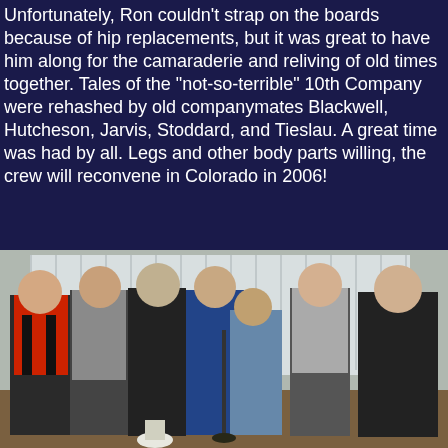Unfortunately, Ron couldn't strap on the boards because of hip replacements, but it was great to have him along for the camaraderie and reliving of old times together. Tales of the "not-so-terrible" 10th Company were rehashed by old companymates Blackwell, Hutcheson, Jarvis, Stoddard, and Tieslau. A great time was had by all. Legs and other body parts willing, the crew will reconvene in Colorado in 2006!
[Figure (photo): Group photo of seven men standing together indoors, smiling for the camera. They are dressed in casual and semi-casual attire. One man on the left wears a red top with black overalls. The others wear various dark and grey sweatshirts and jackets. The background shows white vertical blinds.]